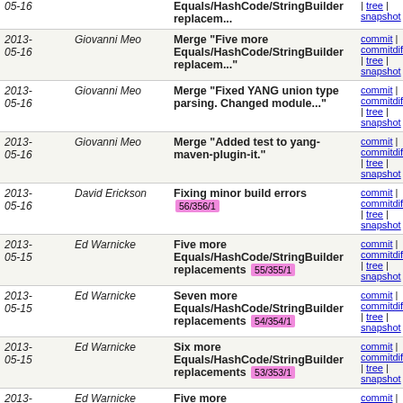| Date | Author | Commit | Links |
| --- | --- | --- | --- |
| 2013-05-16 |  | Equals/HashCode/StringBuilder replacem... | commit | commitdiff | tree | snapshot |
| 2013-05-16 | Giovanni Meo | Merge "Five more Equals/HashCode/StringBuilder replacem..." | commit | commitdiff | tree | snapshot |
| 2013-05-16 | Giovanni Meo | Merge "Fixed YANG union type parsing. Changed module..." | commit | commitdiff | tree | snapshot |
| 2013-05-16 | Giovanni Meo | Merge "Added test to yang-maven-plugin-it." | commit | commitdiff | tree | snapshot |
| 2013-05-16 | David Erickson | Fixing minor build errors 56/356/1 | commit | commitdiff | tree | snapshot |
| 2013-05-15 | Ed Warnicke | Five more Equals/HashCode/StringBuilder replacements 55/355/1 | commit | commitdiff | tree | snapshot |
| 2013-05-15 | Ed Warnicke | Seven more Equals/HashCode/StringBuilder replacements 54/354/1 | commit | commitdiff | tree | snapshot |
| 2013-05-15 | Ed Warnicke | Six more Equals/HashCode/StringBuilder replacements 53/353/1 | commit | commitdiff | tree | snapshot |
| 2013-05-15 | Ed Warnicke | Five more Equals/HashCode/StringBuilder replacements 52/352/1 | commit | commitdiff | tree | snapshot |
| 2013-05-15 | Ed Warnicke | Five more Equals/HashCode/StringBuilder replacements 51/351/1 | commit | commitdiff | tree | snapshot |